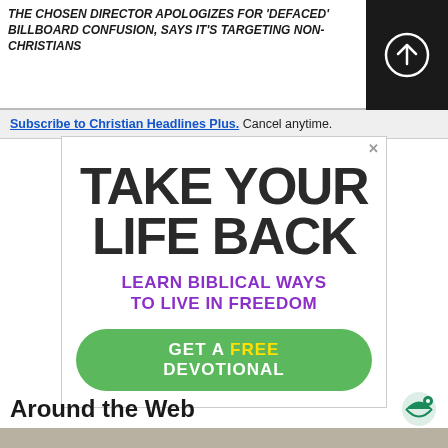THE CHOSEN DIRECTOR APOLOGIZES FOR 'DEFACED' BILLBOARD CONFUSION, SAYS IT'S TARGETING NON-CHRISTIANS
Subscribe to Christian Headlines Plus. Cancel anytime.
[Figure (infographic): Advertisement banner: TAKE YOUR LIFE BACK - LEARN BIBLICAL WAYS TO LIVE IN FREEDOM - GET A FREE DEVOTIONAL (green button)]
Around the Web